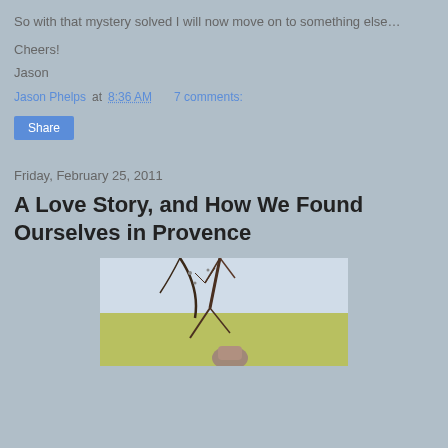So with that mystery solved I will now move on to something else…
Cheers!
Jason
Jason Phelps at 8:36 AM   7 comments:
Share
Friday, February 25, 2011
A Love Story, and How We Found Ourselves in Provence
[Figure (photo): Outdoor photo showing bare tree branches against a light sky, with a person partially visible below]